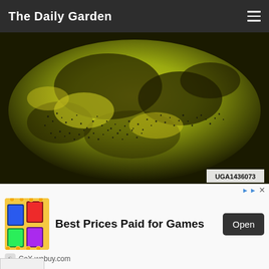The Daily Garden
[Figure (photo): Close-up photo of a yellow-green apple surface covered with sooty blotch and flyspeck disease — dark blotchy patches and tiny black dots on a yellow-green background. Watermark reads UGA1436073.]
Sooty blotch and flyspeck on Golden Delicious (Clemson University - USDA Cooperative Extension Slide Series, Bugwood.org) CC BY 3.0 US
Apple summer disease can affect bananas, blackberries, citrus, crabapple, ...va, pears, persimmons, raspberries, and several